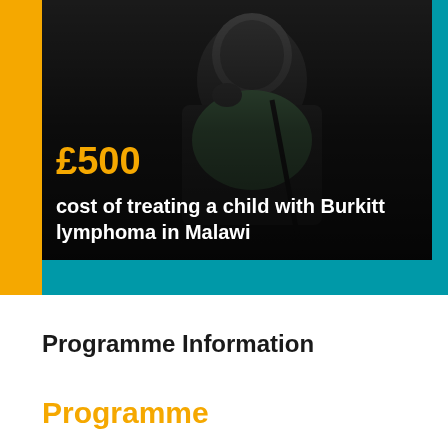[Figure (photo): Dark-toned photo of a child resting chin on hand, wearing a green top and suspenders, on a dark background. Overlaid with orange £500 text and white description text. Teal background surrounds the photo. Orange vertical bar on the left.]
£500
cost of treating a child with Burkitt lymphoma in Malawi
Programme Information
Programme